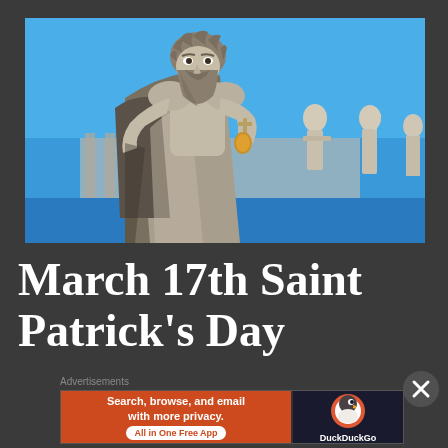[Figure (photo): Photo of a marble statue of a bearded man (Saint Peter) holding keys, with blue sky and other statues in the background, likely at St. Peter's Basilica in Vatican City]
March 17th Saint Patrick's Day
Advertisements
[Figure (infographic): DuckDuckGo advertisement banner: orange left section reading 'Search, browse, and email with more privacy. All in One Free App', dark right section with DuckDuckGo logo and name]